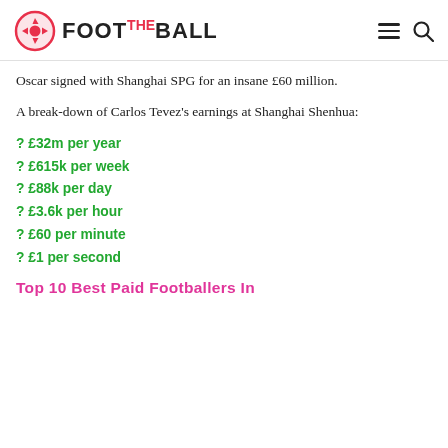FOOT THE BALL
Oscar signed with Shanghai SPG for an insane £60 million.
A break-down of Carlos Tevez's earnings at Shanghai Shenhua:
? £32m per year
? £615k per week
? £88k per day
? £3.6k per hour
? £60 per minute
? £1 per second
Top 10 Best Paid Footballers In